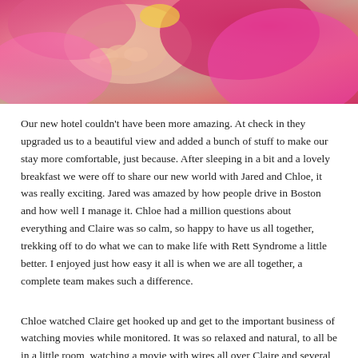[Figure (photo): Close-up photo of children, one wearing pink clothing, in an intimate/candid setting]
Our new hotel couldn't have been more amazing. At check in they upgraded us to a beautiful view and added a bunch of stuff to make our stay more comfortable, just because. After sleeping in a bit and a lovely breakfast we were off to share our new world with Jared and Chloe, it was really exciting. Jared was amazed by how people drive in Boston and how well I manage it. Chloe had a million questions about everything and Claire was so calm, so happy to have us all together, trekking off to do what we can to make life with Rett Syndrome a little better. I enjoyed just how easy it all is when we are all together, a complete team makes such a difference.
Chloe watched Claire get hooked up and get to the important business of watching movies while monitored. It was so relaxed and natural, to all be in a little room, watching a movie with wires all over Claire and several cameras. I suppose it could be sad that we spend that much time in doctors offices but it is just so awesome that we all enjoy doing it together, it's a gift that I treasure for now. At the break Claire took Chloe upstairs to get her going on her test. She loved watching her little sister bravely get set up and